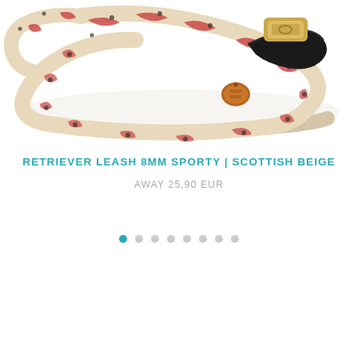[Figure (photo): Close-up photo of a dog leash made from braided rope in beige, red, and black pattern with black leather handle and brown leather tag, on white background]
RETRIEVER LEASH 8MM SPORTY | SCOTTISH BEIGE
AWAY 25,90 EUR
[Figure (other): Carousel navigation dots — 8 dots, first one teal/active, rest grey]